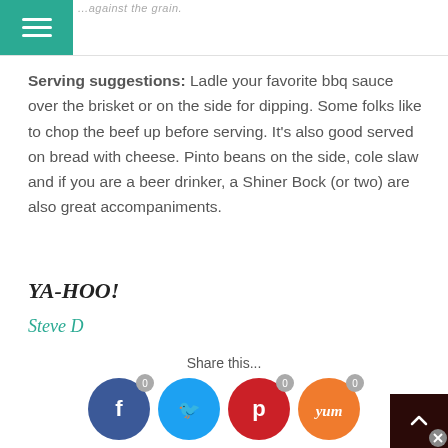Navigation bar with hamburger menu
Serving suggestions: Ladle your favorite bbq sauce over the brisket or on the side for dipping. Some folks like to chop the beef up before serving. It's also good served on bread with cheese. Pinto beans on the side, cole slaw and if you are a beer drinker, a Shiner Bock (or two) are also great accompaniments.
YA-HOO!
Steve D
Share this...
[Figure (infographic): Social share buttons: Facebook (0), Twitter, Pinterest (0), Yummly (0)]